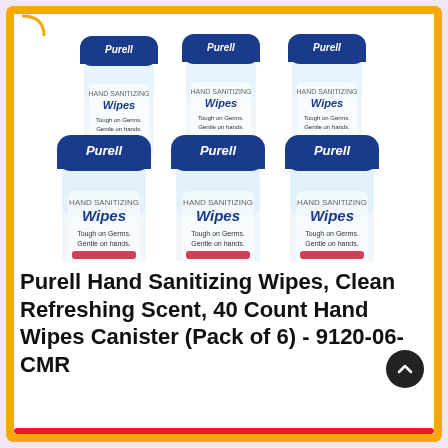[Figure (photo): Six Purell Hand Sanitizing Wipes canisters arranged in two rows of three, white cylindrical containers with blue lids and Purell branding]
Purell Hand Sanitizing Wipes, Clean Refreshing Scent, 40 Count Hand Wipes Canister (Pack of 6) - 9120-06-CMR